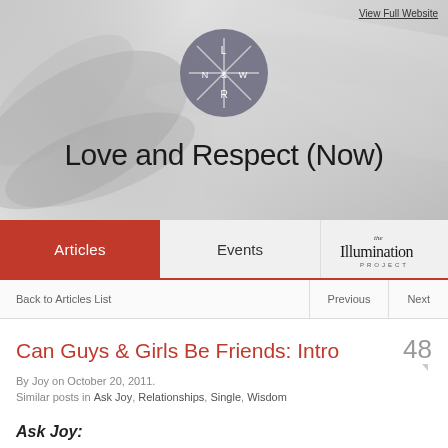View Full Website
[Figure (logo): Circular dark grey logo with X crosshair and letters L, N, &, W, R arranged in quadrants]
Love and Respect (Now)
Articles | Events | Illumination Project
Back to Articles List    Previous    Next
Can Guys & Girls Be Friends: Intro
By Joy on October 20, 2011.
Similar posts in Ask Joy, Relationships, Single, Wisdom
Ask Joy: